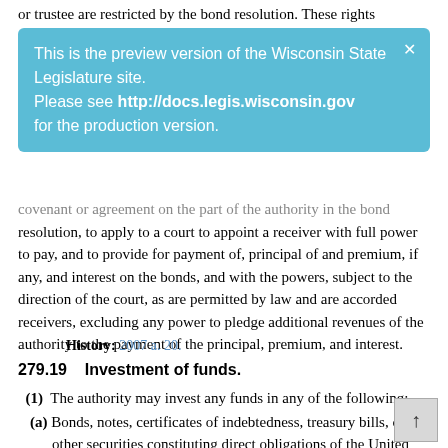or trustee are restricted by the bond resolution. These rights
[Figure (screenshot): Blue preview banner overlay reading: 'This is the preview version of the Wisconsin State Legislature site. Please see http://docs.legis.wisconsin.gov for the production version.' with a close X button.]
covenant or agreement on the part of the authority in the bond resolution, to apply to a court to appoint a receiver with full power to pay, and to provide for payment of, principal of and premium, if any, and interest on the bonds, and with the powers, subject to the direction of the court, as are permitted by law and are accorded receivers, excluding any power to pledge additional revenues of the authority to the payment of the principal, premium, and interest.
History: 2007 a. 20.
279.19    Investment of funds.
(1)  The authority may invest any funds in any of the following:
(a) Bonds, notes, certificates of indebtedness, treasury bills, or other securities constituting direct obligations of the United States or obligations the principal and interest of which are guaranteed by the United States.
(b) Certificates of deposit or time deposits constituting direct obligations of any bank that are insured by the federal deposit insurance corporation.